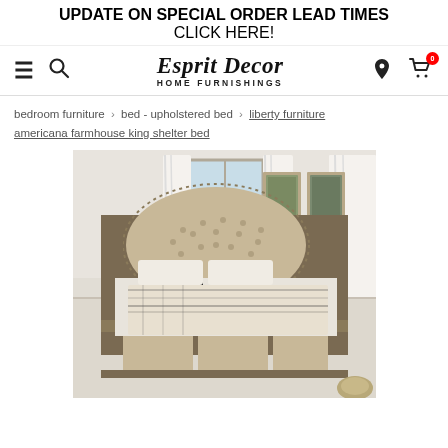UPDATE ON SPECIAL ORDER LEAD TIMES
CLICK HERE!
[Figure (logo): Esprit Decor Home Furnishings logo with hamburger menu, search, location, and cart icons in navigation bar]
bedroom furniture > bed - upholstered bed > liberty furniture americana farmhouse king shelter bed
[Figure (photo): Liberty Furniture Americana Farmhouse King Shelter Bed with tufted upholstered headboard in beige/cream fabric with nailhead trim, shown in a bedroom setting with framed botanical art on the wall]